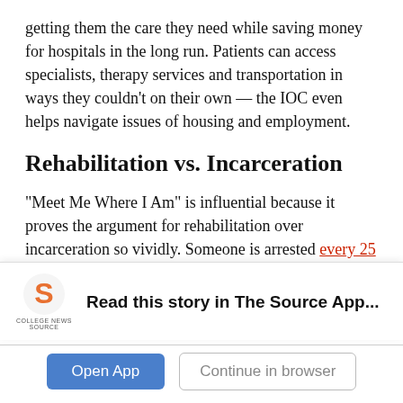getting them the care they need while saving money for hospitals in the long run. Patients can access specialists, therapy services and transportation in ways they couldn't on their own — the IOC even helps navigate issues of housing and employment.
Rehabilitation vs. Incarceration
“Meet Me Where I Am” is influential because it proves the argument for rehabilitation over incarceration so vividly. Someone is arrested every 25 seconds in the U.S. and we have the
[Figure (logo): College News Source app logo — orange S icon with 'COLLEGE NEWS SOURCE' text below]
Read this story in The Source App...
Open App | Continue in browser